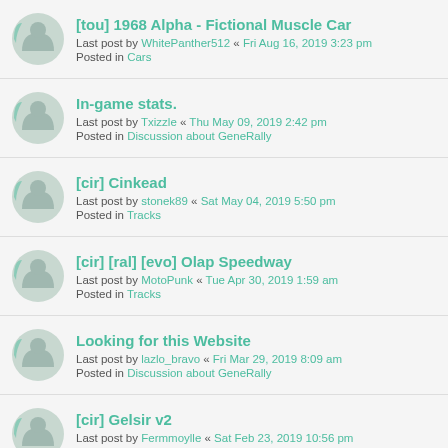[tou] 1968 Alpha - Fictional Muscle Car
Last post by WhitePanther512 « Fri Aug 16, 2019 3:23 pm
Posted in Cars
In-game stats.
Last post by Txizzle « Thu May 09, 2019 2:42 pm
Posted in Discussion about GeneRally
[cir] Cinkead
Last post by stonek89 « Sat May 04, 2019 5:50 pm
Posted in Tracks
[cir] [ral] [evo] Olap Speedway
Last post by MotoPunk « Tue Apr 30, 2019 1:59 am
Posted in Tracks
Looking for this Website
Last post by lazlo_bravo « Fri Mar 29, 2019 8:09 am
Posted in Discussion about GeneRally
[cir] Gelsir v2
Last post by Fermmoylle « Sat Feb 23, 2019 10:56 pm
Posted in Tracks
[cir] Porto Seguro v2